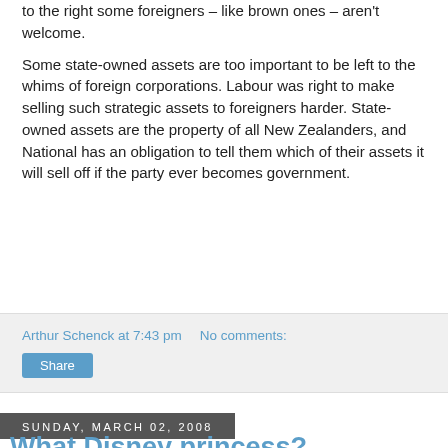to the right some foreigners – like brown ones – aren't welcome.
Some state-owned assets are too important to be left to the whims of foreign corporations. Labour was right to make selling such strategic assets to foreigners harder. State-owned assets are the property of all New Zealanders, and National has an obligation to tell them which of their assets it will sell off if the party ever becomes government.
Arthur Schenck at 7:43 pm   No comments:
Share
Sunday, March 02, 2008
What Disney princess?
My blogging buddy Lost in France took the Disney Princess Test to determine the sort pf princess he is. Naturally, I had to do the same. It turns out, I'm, Cinderella:
[Figure (illustration): Illustration of Cinderella Disney princess character with blonde hair up-do and blue dress]